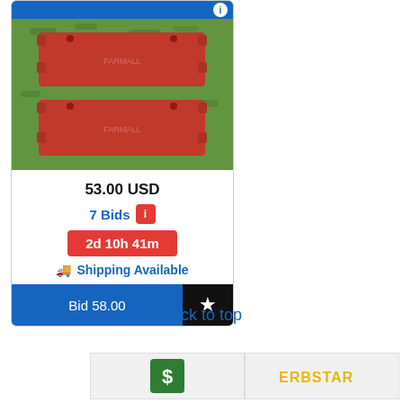[Figure (screenshot): Auction listing card showing two red metal brackets on grass, price 53.00 USD, 7 Bids, timer 2d 10h 41m, Shipping Available, Bid 58.00 button]
Back to top
[Figure (logo): Dollar sign icon in green square]
[Figure (logo): ERBSTAR logo with star]